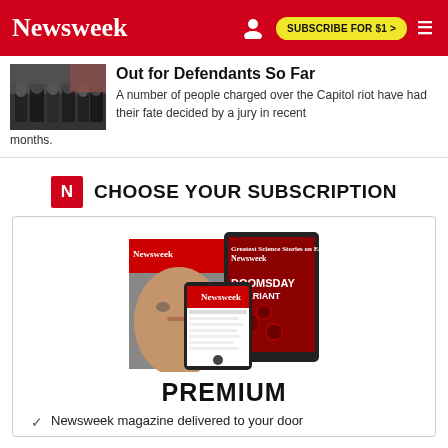Newsweek | SUBSCRIBE FOR $1 >
Out for Defendants So Far
A number of people charged over the Capitol riot have had their fate decided by a jury in recent months.
CHOOSE YOUR SUBSCRIPTION
[Figure (illustration): Collage of Newsweek magazine covers and a smartphone showing the Newsweek app. Covers include 'Putin's End' and 'Doomsday Variant'.]
PREMIUM
Newsweek magazine delivered to your door